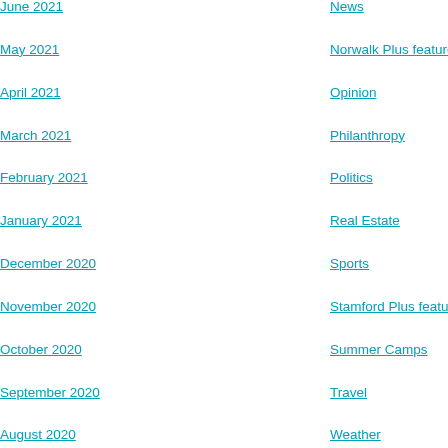June 2021
News
May 2021
Norwalk Plus feature
April 2021
Opinion
March 2021
Philanthropy
February 2021
Politics
January 2021
Real Estate
December 2020
Sports
November 2020
Stamford Plus featur
October 2020
Summer Camps
September 2020
Travel
August 2020
Weather